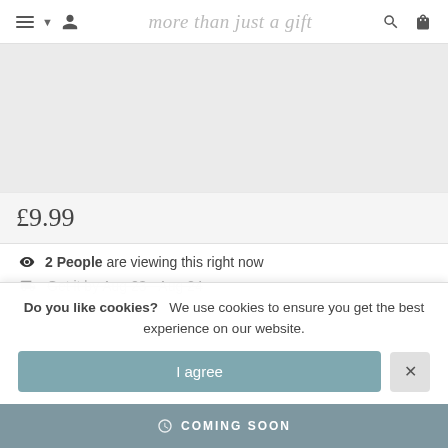more than just a gift
[Figure (photo): Product image area (blank/loading placeholder)]
£9.99
👁 2 People are viewing this right now
Get it by Aug 23 - Aug 24
Do you like cookies?   We use cookies to ensure you get the best experience on our website.
I agree
COMING SOON